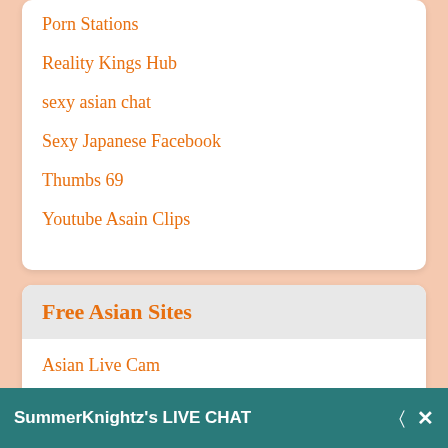Porn Stations
Reality Kings Hub
sexy asian chat
Sexy Japanese Facebook
Thumbs 69
Youtube Asain Clips
Free Asian Sites
Asian Live Cam
Asian Orgy Cam
China Live Cam
SummerKnightz's LIVE CHAT
MORE CAMS »
CHAT WITH ME!